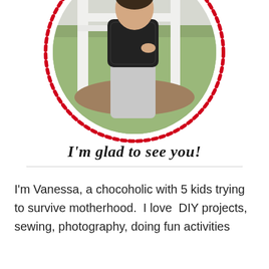[Figure (photo): Circular profile photo of a woman (Vanessa) sitting on a white bench outdoors, wearing a black sparkly top and grey pants, with a red dotted circular border around the image. Grass visible in background.]
I'm glad to see you!
I'm Vanessa, a chocoholic with 5 kids trying to survive motherhood.  I love  DIY projects, sewing, photography, doing fun activities